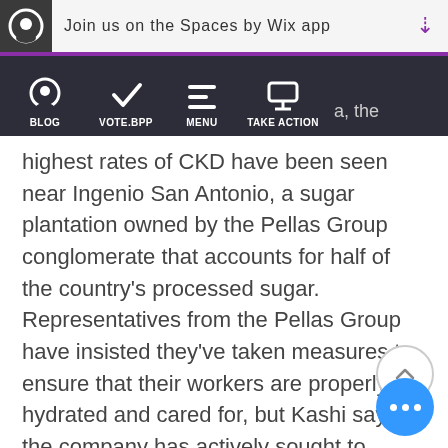Join us on the Spaces by Wix app
[Figure (screenshot): Navigation bar with icons for BLOG, VOTE.BPP, MENU, TAKE ACTION on dark background]
...a, the highest rates of CKD have been seen near Ingenio San Antonio, a sugar plantation owned by the Pellas Group conglomerate that accounts for half of the country's processed sugar. Representatives from the Pellas Group have insisted they've taken measures to ensure that their workers are properly hydrated and cared for, but Kashi says the company has actively sought to silence workers and widows through intimidation. When he visited last year, many locals asked not to be identified by name or chose to